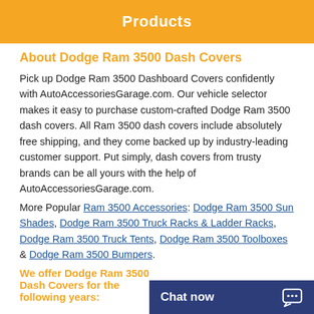Products
About Dodge Ram 3500 Dash Covers
Pick up Dodge Ram 3500 Dashboard Covers confidently with AutoAccessoriesGarage.com. Our vehicle selector makes it easy to purchase custom-crafted Dodge Ram 3500 dash covers. All Ram 3500 dash covers include absolutely free shipping, and they come backed up by industry-leading customer support. Put simply, dash covers from trusty brands can be all yours with the help of AutoAccessoriesGarage.com.
More Popular Ram 3500 Accessories: Dodge Ram 3500 Sun Shades, Dodge Ram 3500 Truck Racks & Ladder Racks, Dodge Ram 3500 Truck Tents, Dodge Ram 3500 Toolboxes & Dodge Ram 3500 Bumpers.
We offer Dodge Ram 3500 Dash Covers for the following years:
Chat now